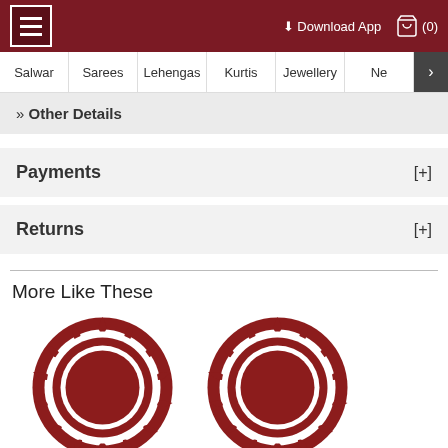≡  Download App  🛍 (0)
Salwar | Sarees | Lehengas | Kurtis | Jewellery | Ne >
» Other Details
Payments [+]
Returns [+]
More Like These
[Figure (illustration): Two decorative red mandala/bindi circular ornament product thumbnails shown side by side]